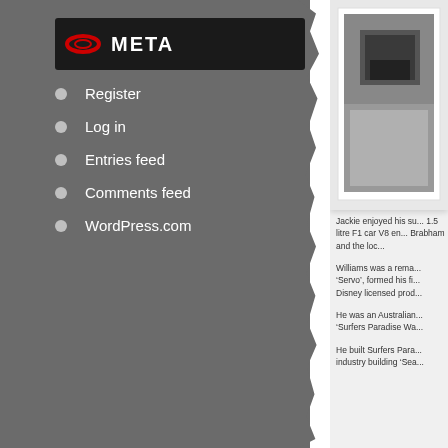META
Register
Log in
Entries feed
Comments feed
WordPress.com
[Figure (photo): Black and white photograph, partially cropped, showing a dark angular object against a light background]
Jackie enjoyed his su... 1.5 litre F1 car V8 en... Brabham and the loc...
Williams was a rema... ‘Servo’, formed his fi... Disney licensed prod...
He was an Australian... ‘Surfers Paradise Wa...
He built Surfers Para... industry building ‘Sea...